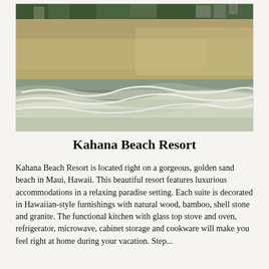[Figure (photo): A beach shoreline photo showing golden sandy beach with waves washing up on shore. Trees and resort structures visible in the background along the tree line.]
Kahana Beach Resort
Kahana Beach Resort is located right on a gorgeous, golden sand beach in Maui, Hawaii. This beautiful resort features luxurious accommodations in a relaxing paradise setting. Each suite is decorated in Hawaiian-style furnishings with natural wood, bamboo, shell stone and granite. The functional kitchen with glass top stove and oven, refrigerator, microwave, cabinet storage and cookware will make you feel right at home during your vacation. Step...